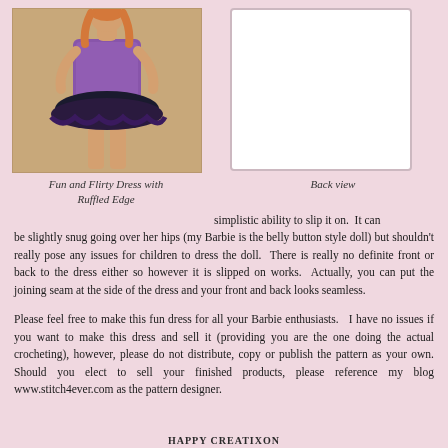[Figure (photo): Front view photo of a Barbie doll wearing a purple crocheted dress with ruffled black edge]
[Figure (photo): Back view placeholder image (white box) of the dress]
Fun and Flirty Dress with Ruffled Edge
Back view
simplistic ability to slip it on.  It can be slightly snug going over her hips (my Barbie is the belly button style doll) but shouldn't really pose any issues for children to dress the doll.  There is really no definite front or back to the dress either so however it is slipped on works.  Actually, you can put the joining seam at the side of the dress and your front and back looks seamless.
Please feel free to make this fun dress for all your Barbie enthusiasts.   I have no issues if you want to make this dress and sell it (providing you are the one doing the actual crocheting), however, please do not distribute, copy or publish the pattern as your own. Should you elect to sell your finished products, please reference my blog www.stitch4ever.com as the pattern designer.
HAPPY CREATIXON